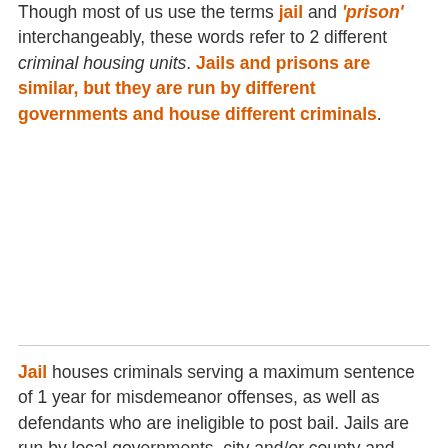Though most of us use the terms 'jail' and 'prison' interchangeably, these words refer to 2 different criminal housing units. Jails and prisons are similar, but they are run by different governments and house different criminals.
Jail houses criminals serving a maximum sentence of 1 year for misdemeanor offenses, as well as defendants who are ineligible to post bail. Jails are run by local governments, city and/or county and offer work release programs, educational classes, and other programs to improve skills that will be beneficial once the criminal is released.